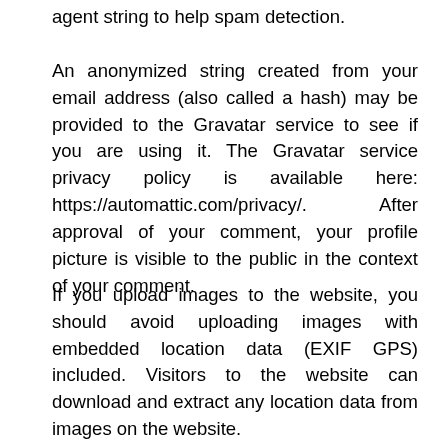agent string to help spam detection.
An anonymized string created from your email address (also called a hash) may be provided to the Gravatar service to see if you are using it. The Gravatar service privacy policy is available here: https://automattic.com/privacy/. After approval of your comment, your profile picture is visible to the public in the context of your comment.
If you upload images to the website, you should avoid uploading images with embedded location data (EXIF GPS) included. Visitors to the website can download and extract any location data from images on the website.